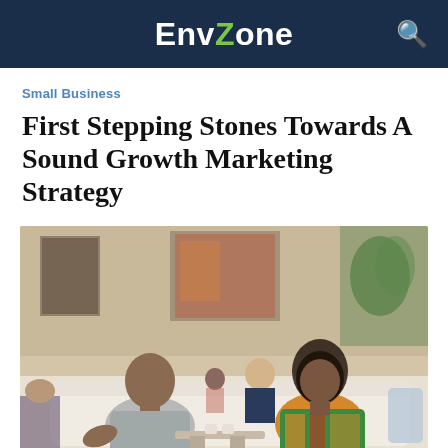EnvZone
Small Business
First Stepping Stones Towards A Sound Growth Marketing Strategy
[Figure (photo): Two people sitting on a couch in a modern lounge/cafe setting, engaged in conversation. A man in a grey shirt on the left and a woman in a colorful patterned top on the right. Other people are visible in the background.]